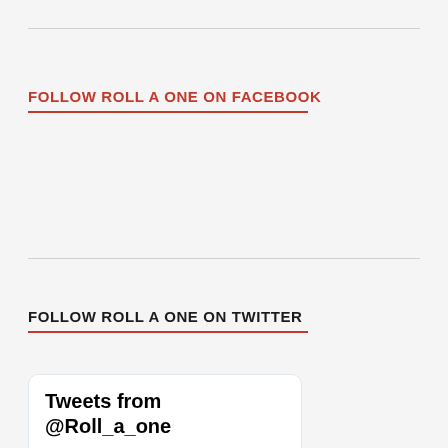FOLLOW ROLL A ONE ON FACEBOOK
FOLLOW ROLL A ONE ON TWITTER
[Figure (screenshot): Twitter widget showing 'Tweets from @Roll_a_one' with a tweet card from 'Per at Ro... @R... · 13h' starting with 'Need some heads with']